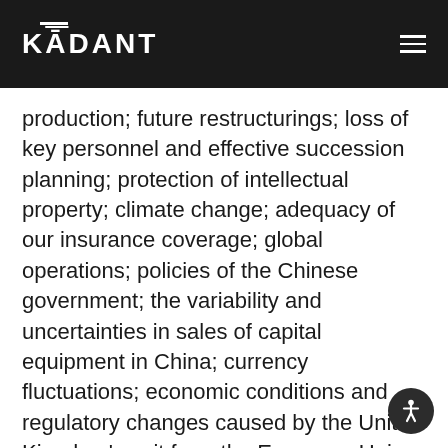KADANT
production; future restructurings; loss of key personnel and effective succession planning; protection of intellectual property; climate change; adequacy of our insurance coverage; global operations; policies of the Chinese government; the variability and uncertainties in sales of capital equipment in China; currency fluctuations; economic conditions and regulatory changes caused by the United Kingdom's exit from the European Union; changes to government regulations and policies around the world; compliance with government regulations and policies and compliance with laws; environmental laws and regulations; environmental, health and safety laws and